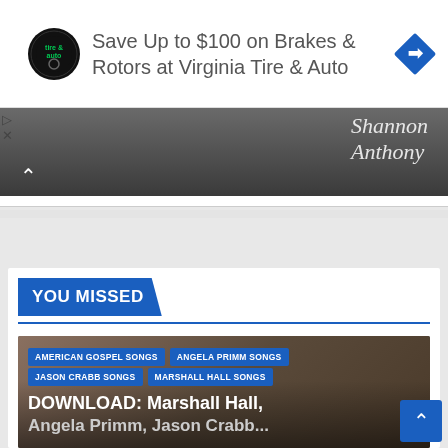[Figure (screenshot): Advertisement banner for Virginia Tire & Auto with circular logo on left, text 'Save Up to $100 on Brakes & Rotors at Virginia Tire & Auto' in center, blue diamond navigation icon on right]
[Figure (photo): Partial photo showing cursive text reading 'Shannon Anthony' overlaid on a dark background photo]
YOU MISSED
[Figure (photo): Article card with blurred photo of a person with blonde hair in background]
AMERICAN GOSPEL SONGS
ANGELA PRIMM SONGS
JASON CRABB SONGS
MARSHALL HALL SONGS
DOWNLOAD: Marshall Hall, Angela Primm, Jason Crabb...